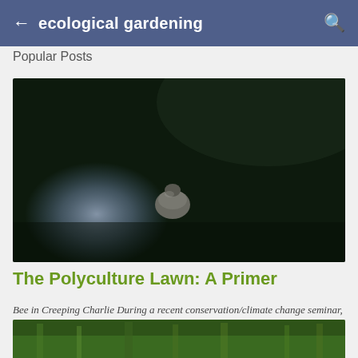ecological gardening
Popular Posts
[Figure (photo): Close-up blurred photo of a bee on Creeping Charlie flowers with dark green bokeh background]
The Polyculture Lawn: A Primer
Bee in Creeping Charlie During a recent conservation/climate change seminar, I happened to comment about the relationship of home gardens to natural areas; how we need to cease thinking of nature as being something over there , while our private yards ar ...
[Figure (photo): Bottom strip of a second photo showing green grass or plants]